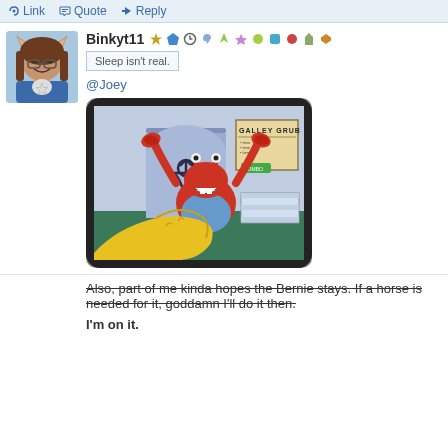Link  Quote  Reply
Binkyt11
Sleep isn't real.
@Joey
[Figure (illustration): Meme image from SpongeBob SquarePants showing Mr. Krabs with claws raised being held by a large yellow hand/finger in the Krusty Krab interior with a 'Galley Grub' sign visible]
Also, part of me kinda hopes the Bernie stays. If a horse is needed for it, goddamn I'll do it then.

I'm on it.